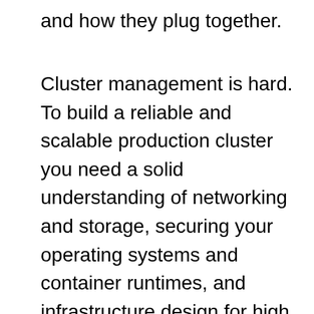and how they plug together.
Cluster management is hard. To build a reliable and scalable production cluster you need a solid understanding of networking and storage, securing your operating systems and container runtimes, and infrastructure design for high availability. That's before you even get to configuring and deploying Kubernetes itself, and then you have the ongoing maintenance of a complex system with a release cycle that means you need to update at least twice a year.